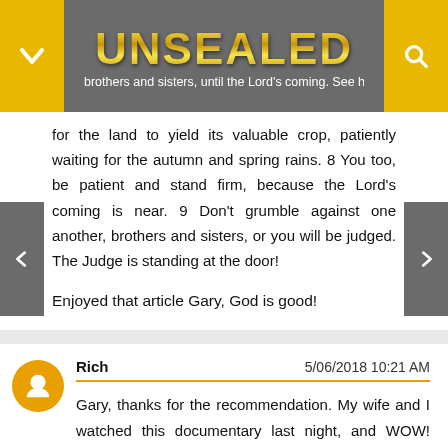UNSEALED — brothers and sisters, until the Lord's coming. See how the farmer waits
for the land to yield its valuable crop, patiently waiting for the autumn and spring rains. 8 You too, be patient and stand firm, because the Lord’s coming is near. 9 Don’t grumble against one another, brothers and sisters, or you will be judged. The Judge is standing at the door!
Enjoyed that article Gary, God is good!
Rich   5/06/2018 10:21 AM
Gary, thanks for the recommendation. My wife and I watched this documentary last night, and WOW! What a testimony to how